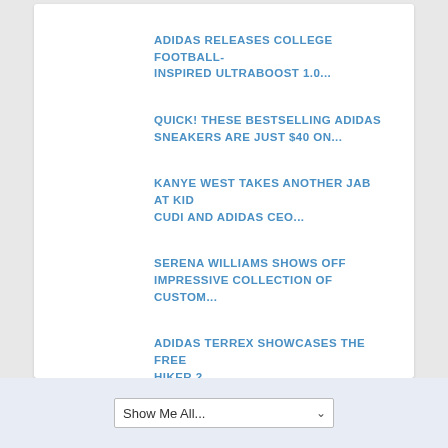ADIDAS RELEASES COLLEGE FOOTBALL-INSPIRED ULTRABOOST 1.0...
QUICK! THESE BESTSELLING ADIDAS SNEAKERS ARE JUST $40 ON...
KANYE WEST TAKES ANOTHER JAB AT KID CUDI AND ADIDAS CEO...
SERENA WILLIAMS SHOWS OFF IMPRESSIVE COLLECTION OF CUSTOM...
ADIDAS TERREX SHOWCASES THE FREE HIKER 2
Show Me All...